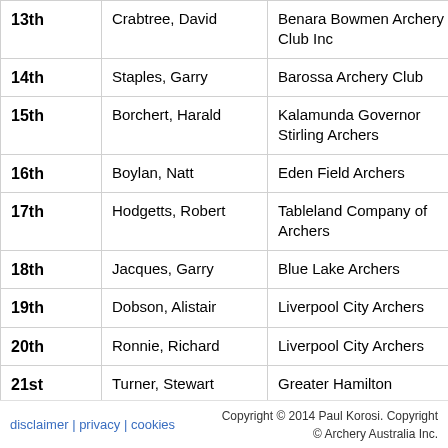| Place | Name | Club | Round |
| --- | --- | --- | --- |
| 13th | Crabtree, David | Benara Bowmen Archery Club Inc | Double Au 18m |
| 14th | Staples, Garry | Barossa Archery Club | Double Au 18m |
| 15th | Borchert, Harald | Kalamunda Governor Stirling Archers | Double Au 18m |
| 16th | Boylan, Natt | Eden Field Archers | Double Au 18m |
| 17th | Hodgetts, Robert | Tableland Company of Archers | Double Au 18m |
| 18th | Jacques, Garry | Blue Lake Archers | Double Au 18m |
| 19th | Dobson, Alistair | Liverpool City Archers | Double Au 18m |
| 20th | Ronnie, Richard | Liverpool City Archers | Double Au 18m |
| 21st | Turner, Stewart | Greater Hamilton | Double Au |
disclaimer | privacy | cookies   Copyright © 2014 Paul Korosi. Copyright © Archery Australia Inc.